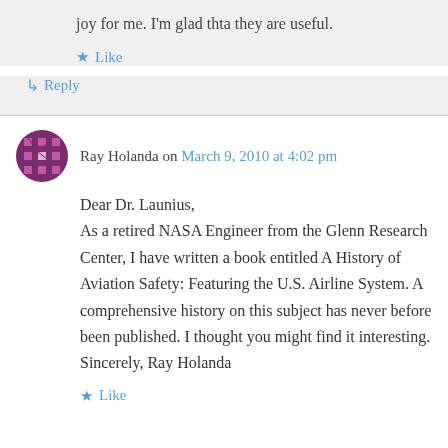joy for me. I'm glad thta they are useful.
Like
Reply
Ray Holanda on March 9, 2010 at 4:02 pm
Dear Dr. Launius, As a retired NASA Engineer from the Glenn Research Center, I have written a book entitled A History of Aviation Safety: Featuring the U.S. Airline System. A comprehensive history on this subject has never before been published. I thought you might find it interesting. Sincerely, Ray Holanda
Like